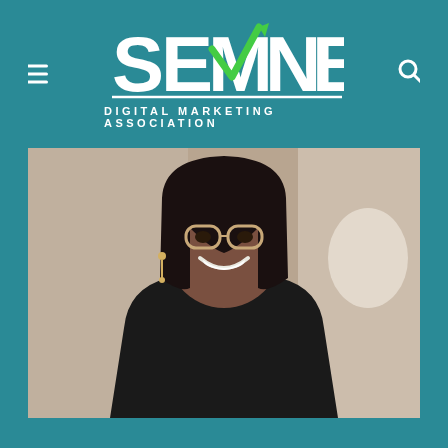[Figure (logo): SEMNE Digital Marketing Association logo with green checkmark/arrow graphic integrated into text on teal background]
[Figure (photo): Professional woman with glasses, black bob hair, gold earrings, smiling confidently in a black blazer against a blurred office/industrial background]
[Figure (photo): Partially visible card/panel with white background showing teal silhouettes of people at the bottom, cut off at page edge]